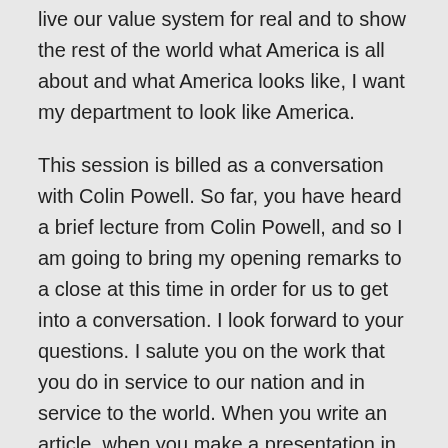live our value system for real and to show the rest of the world what America is all about and what America looks like, I want my department to look like America.
This session is billed as a conversation with Colin Powell. So far, you have heard a brief lecture from Colin Powell, and so I am going to bring my opening remarks to a close at this time in order for us to get into a conversation. I look forward to your questions. I salute you on the work that you do in service to our nation and in service to the world. When you write an article, when you make a presentation in front of a camera, when you praise us, when you criticize those of us who are in government, you are doing important, vital work, work that shows to the rest of the world what a democracy is all about, what a vibrant democracy is all about.